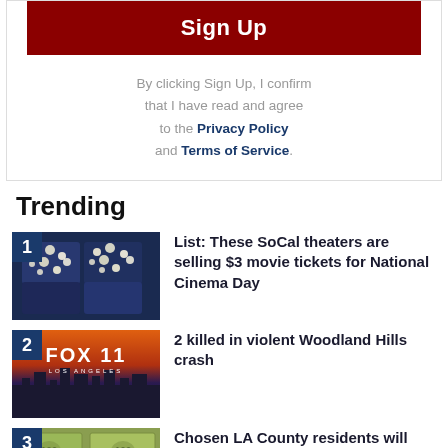Sign Up
By clicking Sign Up, I confirm that I have read and agree to the Privacy Policy and Terms of Service.
Trending
List: These SoCal theaters are selling $3 movie tickets for National Cinema Day
2 killed in violent Woodland Hills crash
Chosen LA County residents will start getting $1,000 a month